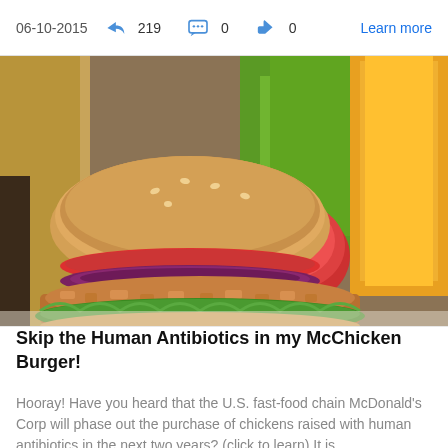06-10-2015   219   0   0   Learn more
[Figure (photo): Close-up photo of a crispy McChicken burger with lettuce, tomato slices, and red onion on a sesame bun, with green peppers, a tomato, and a glass of orange juice in the background.]
Skip the Human Antibiotics in my McChicken Burger!
Hooray! Have you heard that the U.S. fast-food chain McDonald's Corp will phase out the purchase of chickens raised with human antibiotics in the next two years? (click to learn) It is